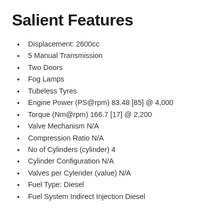Salient Features
Displacement: 2600cc
5 Manual Transmission
Two Doors
Fog Lamps
Tubeless Tyres
Engine Power (PS@rpm) 83.48 [85] @ 4,000
Torque (Nm@rpm) 166.7 [17] @ 2,200
Valve Mechanism N/A
Compression Ratio N/A
No of Cylinders (cylinder) 4
Cylinder Configuration N/A
Valves per Cylender (value) N/A
Fuel Type: Diesel
Fuel System Indirect Injection Diesel